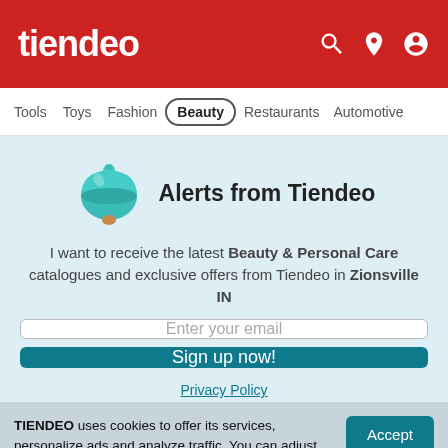tiendeo
Tools | Toys | Fashion | Beauty | Restaurants | Automotive
Alerts from Tiendeo
I want to receive the latest Beauty & Personal Care catalogues and exclusive offers from Tiendeo in Zionsville IN
Enter your email
Sign up now!
Privacy Policy
TIENDEO uses cookies to offer its services, personalize ads and analyze traffic. You can adjust your privacy controls whenever you want in the settings.